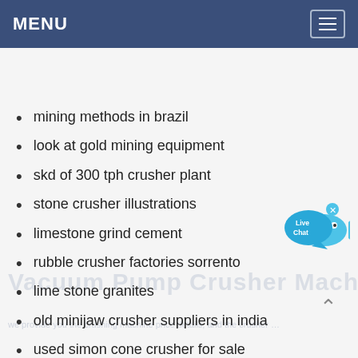MENU
mining methods in brazil
look at gold mining equipment
skd of 300 tph crusher plant
stone crusher illustrations
limestone grind cement
rubble crusher factories sorrento
lime stone granites
old minijaw crusher suppliers in india
used simon cone crusher for sale
crushed stone projects
[Figure (illustration): Live Chat button with fish/bubble graphic]
Vacuum Pump Crusher Machine